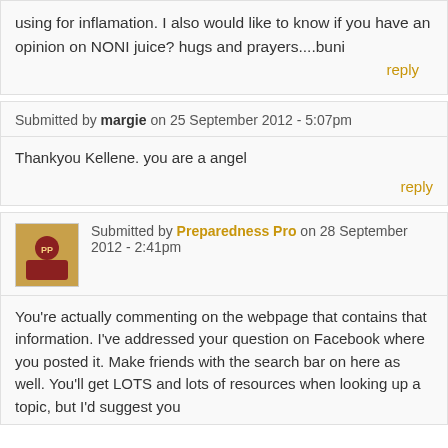using for inflamation. I also would like to know if you have an opinion on NONI juice? hugs and prayers....buni
reply
Submitted by margie on 25 September 2012 - 5:07pm
Thankyou Kellene. you are a angel
reply
Submitted by Preparedness Pro on 28 September 2012 - 2:41pm
You're actually commenting on the webpage that contains that information. I've addressed your question on Facebook where you posted it. Make friends with the search bar on here as well. You'll get LOTS and lots of resources when looking up a topic, but I'd suggest you beginning your research by visiting the archives on this site first.